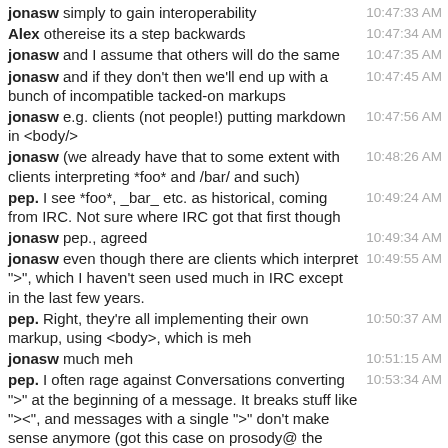jonasw simply to gain interoperability — 10:47:33 AM
Alex othereise its a step backwards — 10:47:34 AM
jonasw and I assume that others will do the same — 10:47:35 AM
jonasw and if they don't then we'll end up with a bunch of incompatible tacked-on markups — 10:47:45 AM
jonasw e.g. clients (not people!) putting markdown in <body/> — 10:47:56 AM
jonasw (we already have that to some extent with clients interpreting *foo* and /bar/ and such) — 10:48:26 AM
pep. I see *foo*, _bar_ etc. as historical, coming from IRC. Not sure where IRC got that first though — 10:49:24 AM
jonasw pep., agreed — 10:49:34 AM
jonasw even though there are clients which interpret ">", which I haven't seen used much in IRC except in the last few years. — 10:49:55 AM
pep. Right, they're all implementing their own markup, using <body>, which is meh — 10:50:37 AM
jonasw much meh — 10:51:15 AM
pep. I often rage against Conversations converting ">" at the beginning of a message. It breaks stuff like "><", and messages with a single ">" don't make sense anymore (got this case on prosody@ the other day) — 10:53:34 AM
Holger >< works though. — 10:54:08 AM
dwd has left